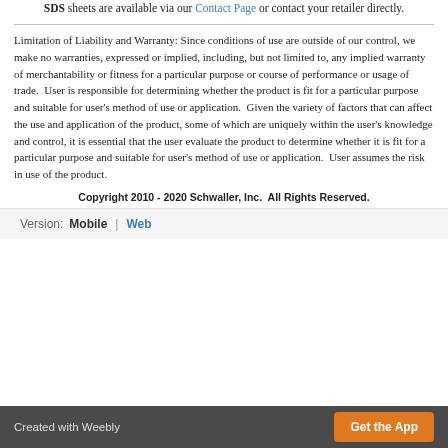SDS sheets are available via our Contact Page or contact your retailer directly.
Limitation of Liability and Warranty: Since conditions of use are outside of our control, we make no warranties, expressed or implied, including, but not limited to, any implied warranty of merchantability or fitness for a particular purpose or course of performance or usage of trade. User is responsible for determining whether the product is fit for a particular purpose and suitable for user's method of use or application. Given the variety of factors that can affect the use and application of the product, some of which are uniquely within the user's knowledge and control, it is essential that the user evaluate the product to determine whether it is fit for a particular purpose and suitable for user's method of use or application. User assumes the risk in use of the product.
Copyright 2010 - 2020 Schwaller, Inc. All Rights Reserved.
Version: Mobile | Web
Created with Weebly  Get the App